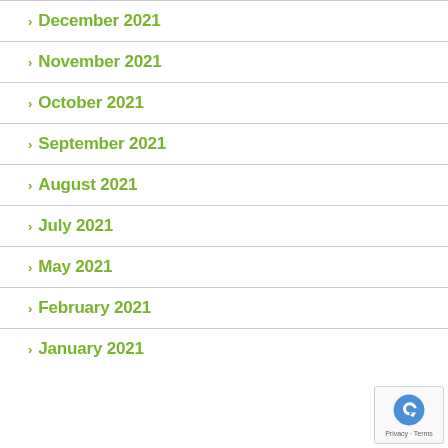December 2021
November 2021
October 2021
September 2021
August 2021
July 2021
May 2021
February 2021
January 2021